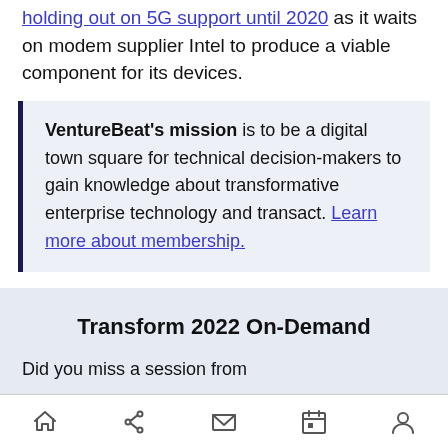holding out on 5G support until 2020 as it waits on modem supplier Intel to produce a viable component for its devices.
VentureBeat's mission is to be a digital town square for technical decision-makers to gain knowledge about transformative enterprise technology and transact. Learn more about membership.
Transform 2022 On-Demand
Did you miss a session from
Home | Share | Mail | Calendar | Profile